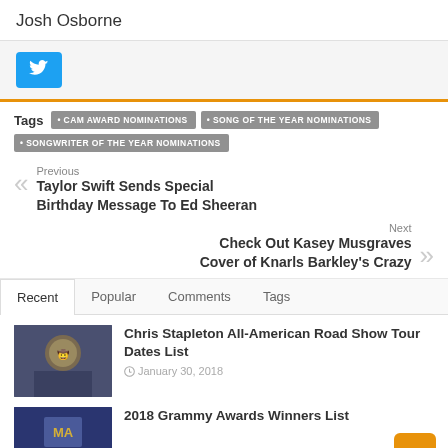Josh Osborne
[Figure (other): Twitter share button (blue bird icon)]
Tags: CAM AWARD NOMINATIONS • SONG OF THE YEAR NOMINATIONS • SONGWRITER OF THE YEAR NOMINATIONS
Previous: Taylor Swift Sends Special Birthday Message To Ed Sheeran
Next: Check Out Kasey Musgraves Cover of Knarls Barkley's Crazy
Recent | Popular | Comments | Tags
Chris Stapleton All-American Road Show Tour Dates List — January 30, 2018
2018 Grammy Awards Winners List